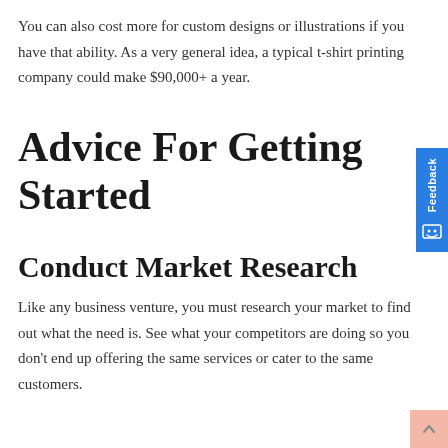You can also cost more for custom designs or illustrations if you have that ability. As a very general idea, a typical t-shirt printing company could make $90,000+ a year.
Advice For Getting Started
Conduct Market Research
Like any business venture, you must research your market to find out what the need is. See what your competitors are doing so you don't end up offering the same services or cater to the same customers.